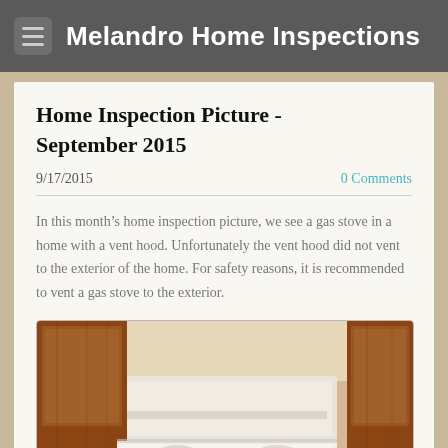Melandro Home Inspections
Home Inspection Picture - September 2015
9/17/2015   0 Comments
In this month's home inspection picture, we see a gas stove in a home with a vent hood. Unfortunately the vent hood did not vent to the exterior of the home. For safety reasons, it is recommended to vent a gas stove to the exterior.
[Figure (photo): Photo of a kitchen vent hood above a gas stove, showing wooden cabinets and a white appliance underneath, taken from below looking up.]